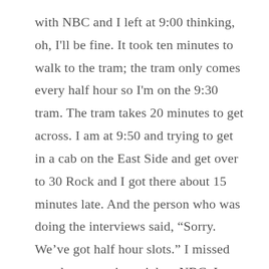with NBC and I left at 9:00 thinking, oh, I'll be fine. It took ten minutes to walk to the tram; the tram only comes every half hour so I'm on the 9:30 tram. The tram takes 20 minutes to get across. I am at 9:50 and trying to get in a cab on the East Side and get over to 30 Rock and I got there about 15 minutes late. And the person who was doing the interviews said, “Sorry. We’ve got half hour slots.” I missed my shot at getting a job at NBC. I won’t mention names, but the person who told me, “That’s it,” actually still works in the business, and actually is a very senior person at HR, and one of our